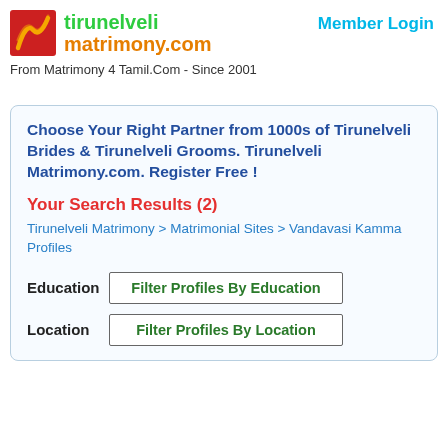[Figure (logo): Tirunelveli Matrimony.com logo with red/orange icon and green/orange text]
Member Login
From Matrimony 4 Tamil.Com - Since 2001
Choose Your Right Partner from 1000s of Tirunelveli Brides & Tirunelveli Grooms. Tirunelveli Matrimony.com. Register Free !
Your Search Results (2)
Tirunelveli Matrimony > Matrimonial Sites > Vandavasi Kamma Profiles
Education   Filter Profiles By Education
Location   Filter Profiles By Location